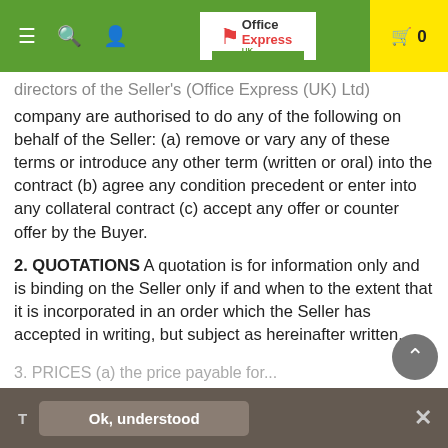Office Express UK navigation bar with logo, menu, search, user icons and cart (0)
directors of the Seller's (Office Express (UK) Ltd) company are authorised to do any of the following on behalf of the Seller: (a) remove or vary any of these terms or introduce any other term (written or oral) into the contract (b) agree any condition precedent or enter into any collateral contract (c) accept any offer or counter offer by the Buyer.
2. QUOTATIONS A quotation is for information only and is binding on the Seller only if and when to the extent that it is incorporated in an order which the Seller has accepted in writing, but subject as hereinafter written.